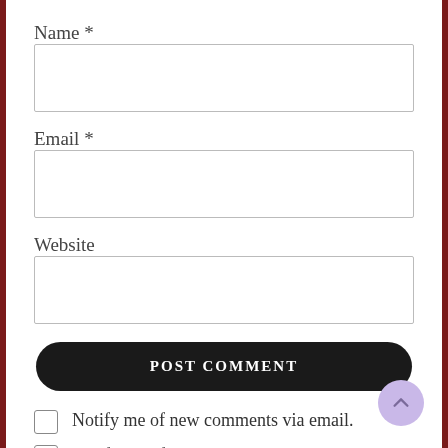Name *
[Figure (other): Empty text input box for Name field]
Email *
[Figure (other): Empty text input box for Email field]
Website
[Figure (other): Empty text input box for Website field]
[Figure (other): POST COMMENT button, dark rounded pill shape]
Notify me of new comments via email.
Notify me of new posts via email.